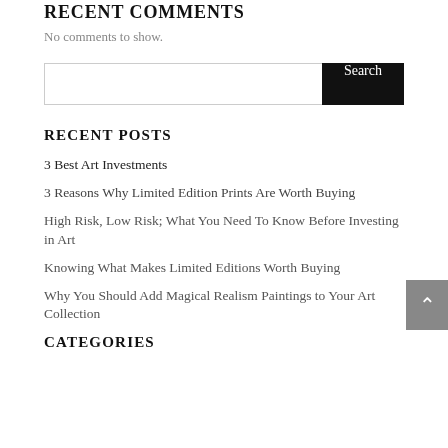RECENT COMMENTS
No comments to show.
[Figure (other): Search bar with text input and Search button]
RECENT POSTS
3 Best Art Investments
3 Reasons Why Limited Edition Prints Are Worth Buying
High Risk, Low Risk; What You Need To Know Before Investing in Art
Knowing What Makes Limited Editions Worth Buying
Why You Should Add Magical Realism Paintings to Your Art Collection
CATEGORIES